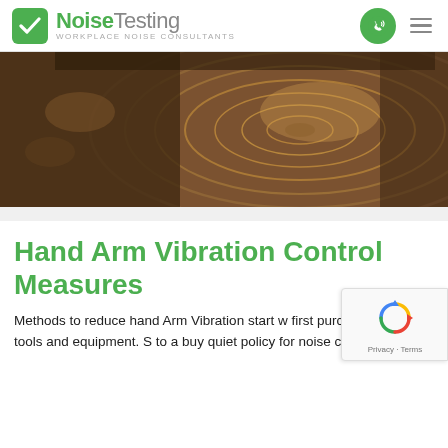NoiseTesting — WORKPLACE NOISE CONSULTANTS
[Figure (photo): Close-up photograph of a cross-section of wood being cut, showing sawdust and wood grain texture]
Hand Arm Vibration Control Measures
Methods to reduce hand Arm Vibration start w first purchasing hand tools and equipment. S to a buy quiet policy for noise control, the